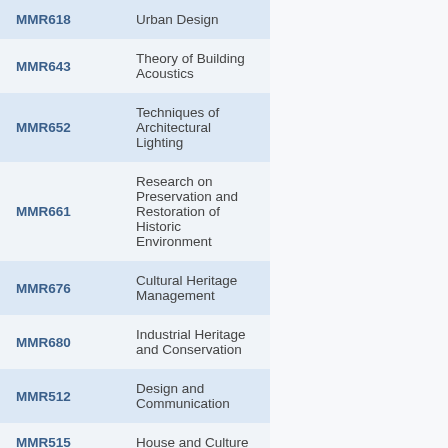| Code | Course Name |
| --- | --- |
| MMR618 | Urban Design |
| MMR643 | Theory of Building Acoustics |
| MMR652 | Techniques of Architectural Lighting |
| MMR661 | Research on Preservation and Restoration of Historic Environment |
| MMR676 | Cultural Heritage Management |
| MMR680 | Industrial Heritage and Conservation |
| MMR512 | Design and Communication |
| MMR515 | House and Culture (partial) |